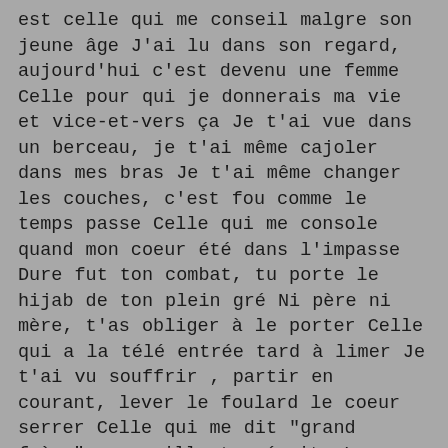est celle qui me conseil malgre son jeune âge J'ai lu dans son regard, aujourd'hui c'est devenu une femme Celle pour qui je donnerais ma vie et vice-et-vers ça Je t'ai vue dans un berceau, je t'ai même cajoler dans mes bras Je t'ai même changer les couches, c'est fou comme le temps passe Celle qui me console quand mon coeur été dans l'impasse Dure fut ton combat, tu porte le hijab de ton plein gré Ni père ni mère, t'as obliger à le porter Celle qui a la télé entrée tard à limer Je t'ai vu souffrir , partir en courant, lever le foulard le coeur serrer Celle qui me dit "grand frère", surveille tes écrits Les petits frères t'écoutent en boucle, soigne ton langage et tes dires Ma soeur, je te dédis ses quelques mesures, je sais que tu partiras un jour